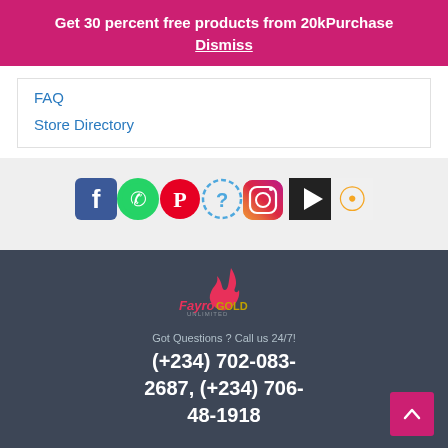Get 30 percent free products from 20k Purchase
Dismiss
FAQ
Store Directory
[Figure (other): Social media icon row: Facebook, WhatsApp, Pinterest, Help/Question, Instagram, YouTube, RSS]
[Figure (logo): FayroGOLD logo with pink flame and stylized text]
Got Questions ? Call us 24/7!
(+234) 702-083-2687, (+234) 706-48-1918